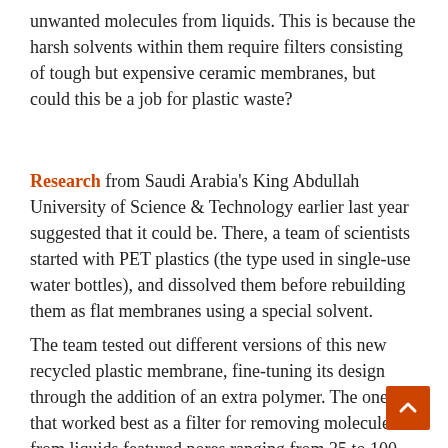unwanted molecules from liquids. This is because the harsh solvents within them require filters consisting of tough but expensive ceramic membranes, but could this be a job for plastic waste?
Research from Saudi Arabia's King Abdullah University of Science & Technology earlier last year suggested that it could be. There, a team of scientists started with PET plastics (the type used in single-use water bottles), and dissolved them before rebuilding them as flat membranes using a special solvent.
The team tested out different versions of this new recycled plastic membrane, fine-tuning its design through the addition of an extra polymer. The one that worked best as a filter for removing molecules from liquids featured pores ranging from 35 to 100 nanometers wide. But it's not just harsh chemicals these filters could handle, with the team also eyeing applications in the realm of water filtration.